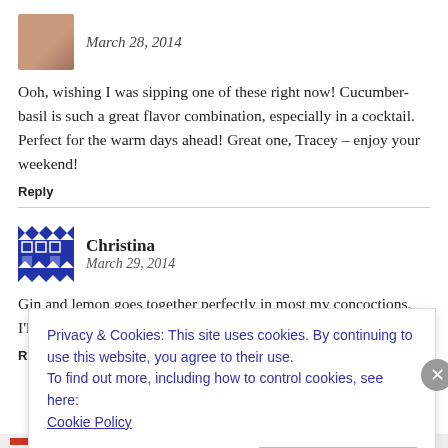March 28, 2014
Ooh, wishing I was sipping one of these right now! Cucumber-basil is such a great flavor combination, especially in a cocktail. Perfect for the warm days ahead! Great one, Tracey – enjoy your weekend!
Reply
Christina
March 29, 2014
Gin and lemon goes together perfectly in most my concoctions. I'll have to find some herbal Gin and try it with basil now! Looks g
R
Privacy & Cookies: This site uses cookies. By continuing to use this website, you agree to their use.
To find out more, including how to control cookies, see here: Cookie Policy
Close and accept